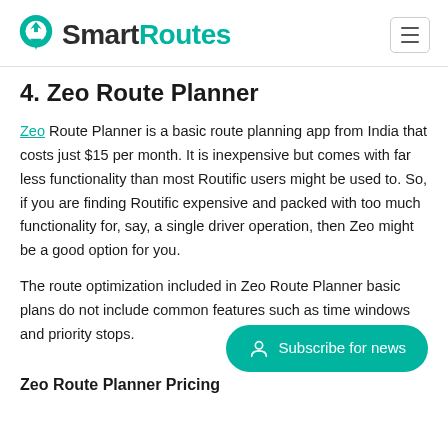SmartRoutes
4. Zeo Route Planner
Zeo Route Planner is a basic route planning app from India that costs just $15 per month. It is inexpensive but comes with far less functionality than most Routific users might be used to. So, if you are finding Routific expensive and packed with too much functionality for, say, a single driver operation, then Zeo might be a good option for you.
The route optimization included in Zeo Route Planner basic plans do not include common features such as time windows and priority stops.
Zeo Route Planner Pricing